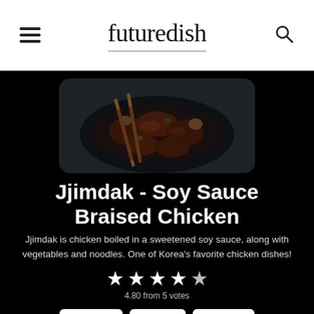futuredish
[Figure (photo): Food photo of Jjimdak - Soy Sauce Braised Chicken in a dark bowl with chopsticks]
Jjimdak - Soy Sauce Braised Chicken
Jjimdak is chicken boiled in a sweetened soy sauce, along with vegetables and noodles. One of Korea's favorite chicken dishes!
4.80 from 5 votes